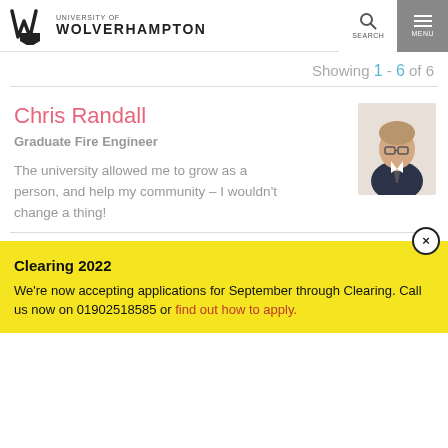University of Wolverhampton — SEARCH MENU
Showing 1 - 6 of 6
Chris Randall
Graduate Fire Engineer
The university allowed me to grow as a person, and help my community – I wouldn't change a thing!
[Figure (photo): Headshot of Chris Randall, a young man with glasses wearing a dark blazer]
Clearing 2022
We're now accepting applications for September through Clearing. Call us now on 01902518585 or find out how to apply.